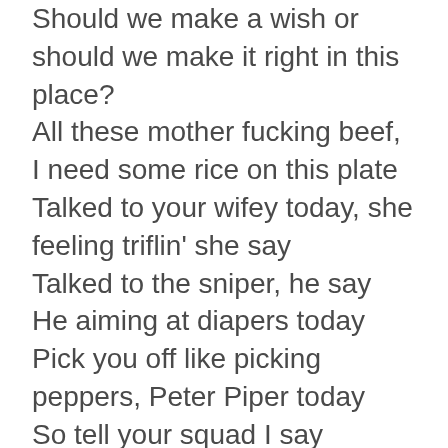Should we make a wish or should we make it right in this place? All these mother fucking beef, I need some rice on this plate Talked to your wifey today, she feeling triflin' she say Talked to the sniper, he say He aiming at diapers today Pick you off like picking peppers, Peter Piper today So tell your squad I say “BLAOW” like Spice1 would say It’s Mortal Kombat tonight, it’s Street Fighter today I’m Major Bison, Drizzy lit like Raiden light up